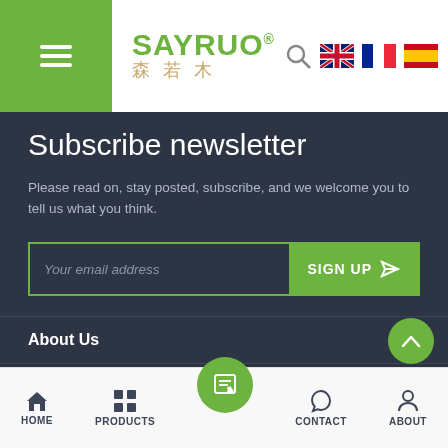[Figure (logo): SAYRUO brand logo with green hamburger menu, green SAYRUO text with registered trademark, gold Chinese characters 森若木, and navigation icons including search, UK flag, French flag, Spanish flag]
Subscribe newsletter
Please read on, stay posted, subscribe, and we welcome you to tell us what you think.
Your email address  SIGN UP
About Us
Follow Us
HOME  PRODUCTS  CONTACT  ABOUT